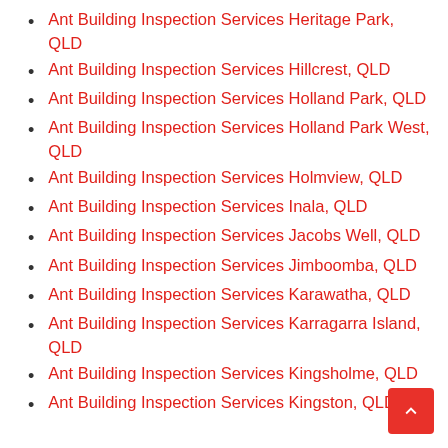Ant Building Inspection Services Heritage Park, QLD
Ant Building Inspection Services Hillcrest, QLD
Ant Building Inspection Services Holland Park, QLD
Ant Building Inspection Services Holland Park West, QLD
Ant Building Inspection Services Holmview, QLD
Ant Building Inspection Services Inala, QLD
Ant Building Inspection Services Jacobs Well, QLD
Ant Building Inspection Services Jimboomba, QLD
Ant Building Inspection Services Karawatha, QLD
Ant Building Inspection Services Karragarra Island, QLD
Ant Building Inspection Services Kingsholme, QLD
Ant Building Inspection Services Kingston, QLD